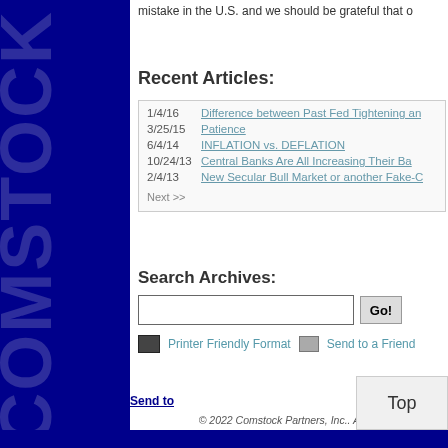mistake in the U.S. and we should be grateful that o
Recent Articles:
1/4/16   Difference between Past Fed Tightening an
3/25/15   Patience
6/4/14   INFLATION vs. DEFLATION
10/24/13   Central Banks Are All Increasing Their Ba
2/4/13   New Secular Bull Market or another Fake-C
Next >>
Search Archives:
Go!
Printer Friendly Format   Send to a Friend
Send to
© 2022 Comstock Partners, Inc.. All rig
Top